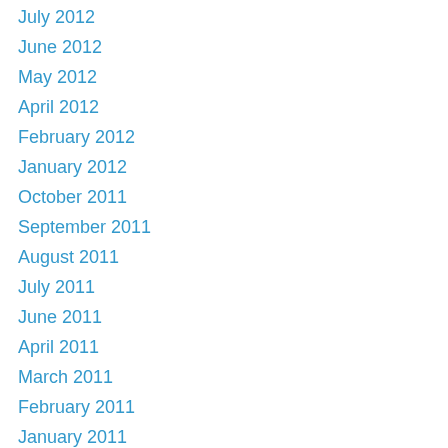July 2012
June 2012
May 2012
April 2012
February 2012
January 2012
October 2011
September 2011
August 2011
July 2011
June 2011
April 2011
March 2011
February 2011
January 2011
December 2010
November 2010
October 2010
September 2010